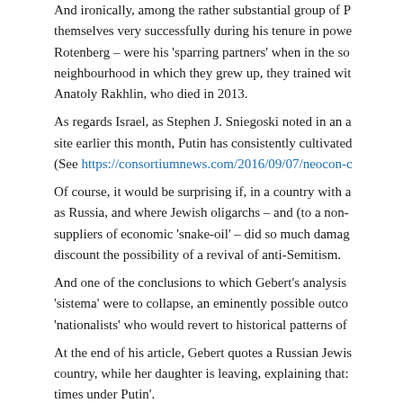And ironically, among the rather substantial group of P... themselves very successfully during his tenure in powe... Rotenberg – were his 'sparring partners' when in the so... neighbourhood in which they grew up, they trained wit... Anatoly Rakhlin, who died in 2013.
As regards Israel, as Stephen J. Sniegoski noted in an a... site earlier this month, Putin has consistently cultivated... (See https://consortiumnews.com/2016/09/07/neocon-c...
Of course, it would be surprising if, in a country with a... as Russia, and where Jewish oligarchs – and (to a non-... suppliers of economic 'snake-oil' – did so much damag... discount the possibility of a revival of anti-Semitism.
And one of the conclusions to which Gebert's analysis ... 'sistema' were to collapse, an eminently possible outco... 'nationalists' who would revert to historical patterns of...
At the end of his article, Gebert quotes a Russian Jewis... country, while her daughter is leaving, explaining that: ... times under Putin'.
Certainly Russia...